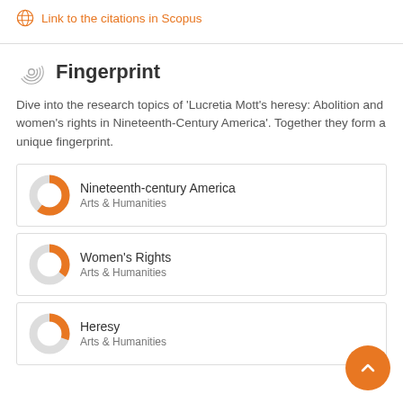Link to the citations in Scopus
Fingerprint
Dive into the research topics of 'Lucretia Mott's heresy: Abolition and women's rights in Nineteenth-Century America'. Together they form a unique fingerprint.
Nineteenth-century America
Arts & Humanities
Women's Rights
Arts & Humanities
Heresy
Arts & Humanities